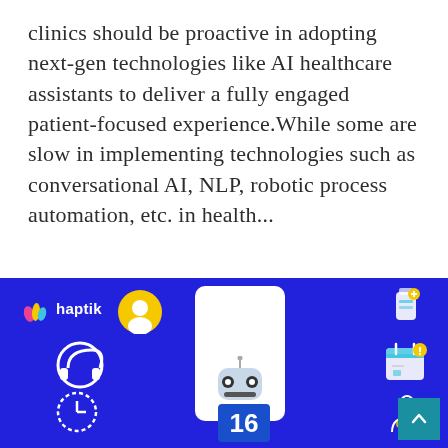clinics should be proactive in adopting next-gen technologies like AI healthcare assistants to deliver a fully engaged patient-focused experience.While some are slow in implementing technologies such as conversational AI, NLP, robotic process automation, etc. in health...
Read More
[Figure (illustration): Haptik branded banner with blue background showing a chatbot robot on a phone screen, healthcare icons (headset with cross, clock, calendar with alert, medicine bottle, person silhouette), yellow circle avatar, number 16 tile, and a teal scroll-to-top button.]